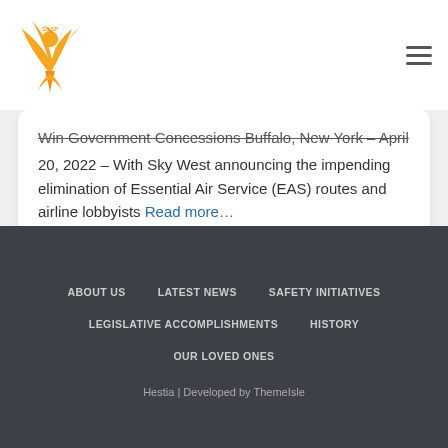SASP logo and navigation hamburger menu
Win Government Concessions Buffalo, New York – April 20, 2022 – With Sky West announcing the impending elimination of Essential Air Service (EAS) routes and airline lobbyists Read more…
ABOUT US | LATEST NEWS | SAFETY INITIATIVES | LEGISLATIVE ACCOMPLISHMENTS | HISTORY | OUR LOVED ONES | Hestia | Developed by ThemeIsle